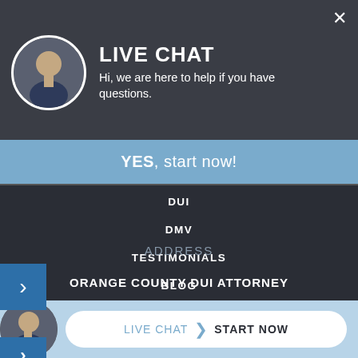LIVE CHAT
Hi, we are here to help if you have questions.
YES, start now!
DUI
DMV
TESTIMONIALS
BLOG
CONTACT US
ADDRESS
ORANGE COUNTY DUI ATTORNEY
LIVE CHAT  START NOW